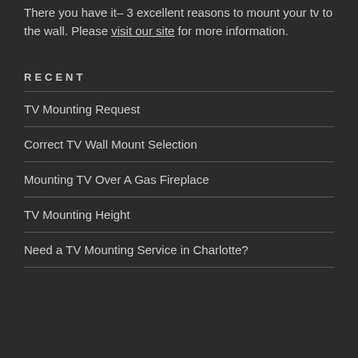text. We have a transparent cost structure. There you have it– 3 excellent reasons to mount your tv to the wall. Please visit our site for more information.
RECENT
TV Mounting Request
Correct TV Wall Mount Selection
Mounting TV Over A Gas Fireplace
TV Mounting Height
Need a TV Mounting Service in Charlotte?